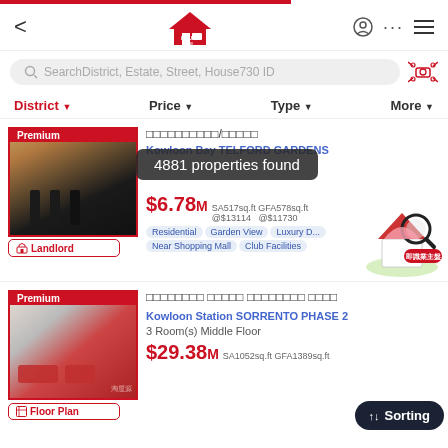House730 app navigation bar with back arrow, House730 logo, profile icon, more icon, menu icon
Search District, Estate, Street, House730 ID
District ▼   Price ▼   Type ▼   More ▼
[Figure (photo): Premium kitchen interior photo with bar stools, dark cabinetry, labeled 'Premium' and 'Landlord']
（Chinese characters）/（Chinese characters）
Kowloon Bay TELFORD GARDENS
4881 properties found
$6.78M  SA517sq.ft GFA578sq.ft  @$13114  @$11730
Residential  Garden View  Luxury D...  Near Shopping Mall  Club Facilities
[Figure (photo): Premium room interior photo with red seating, labeled 'Premium' and 'Floor Plan']
（Chinese characters）（Chinese characters）（Chinese characters）（Chinese characters）
Kowloon Station SORRENTO PHASE 2
3 Room(s) Middle Floor
$29.38M  SA1052sq.ft GFA1389sq.ft
↑↓ Sorting